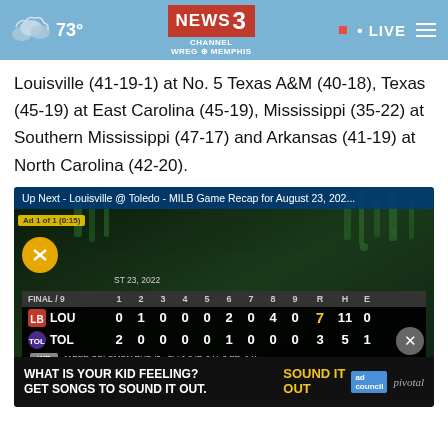73° NEWS CHANNEL 3 WREG MEMPHIS • LIVE
Louisville (41-19-1) at No. 5 Texas A&M (40-18), Texas (45-19) at East Carolina (45-19), Mississippi (35-22) at Southern Mississippi (47-17) and Arkansas (41-19) at North Carolina (42-20).
[Figure (screenshot): Video player showing MILB game recap: Up Next - Louisville @ Toledo - MILB Game Recap for August 23, 202... with scoreboard showing LOU 7, TOL 3. Ad banner at bottom: WHAT IS YOUR KID FEELING? GET SONGS TO SOUND IT OUT.]